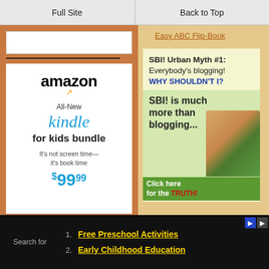Full Site | Back to Top
Easy ABC Flip-Book
[Figure (illustration): Amazon Kindle for Kids Bundle advertisement. Shows Amazon logo with orange smile, text: All-New kindle for kids bundle. It's not screen time—it's book time. $99.99]
[Figure (illustration): SBI advertisement. Top section: SBI! Urban Myth #1: Everybody's blogging! WHY SHOULDN'T I? Bottom section (green background): SBI! is much more than blogging... Click here for the TRUTH!]
1. Free Preschool Activities
2. Early Childhood Education
Search for